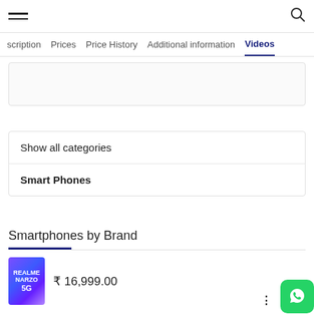hamburger menu and search icon
scription  Prices  Price History  Additional information  Videos
[Figure (screenshot): Embedded video placeholder box]
Show all categories
Smart Phones
Smartphones by Brand
₹ 16,999.00